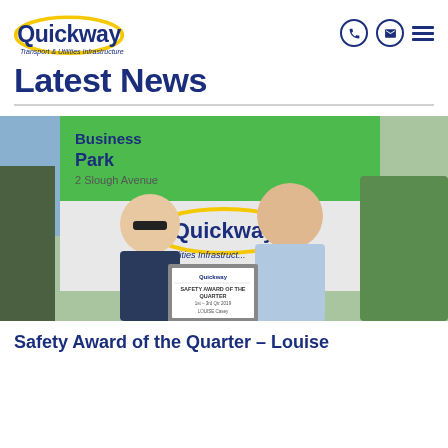Quickway — Transport & Utilities Infrastructure
Latest News
[Figure (photo): Two Quickway employees standing in front of a Quickway Transport & Utilities Infrastructure sign at a Business Park at 2 Slough Avenue. They are holding a framed certificate that reads 'Safety Award of the Quarter'.]
Safety Award of the Quarter – Louise